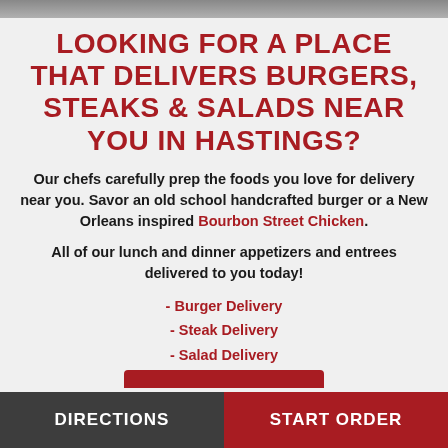LOOKING FOR A PLACE THAT DELIVERS BURGERS, STEAKS & SALADS NEAR YOU IN HASTINGS?
Our chefs carefully prep the foods you love for delivery near you. Savor an old school handcrafted burger or a New Orleans inspired Bourbon Street Chicken.
All of our lunch and dinner appetizers and entrees delivered to you today!
- Burger Delivery
- Steak Delivery
- Salad Delivery
DIRECTIONS | START ORDER